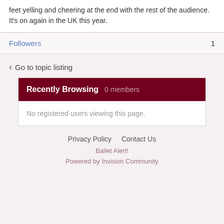feet yelling and cheering at the end with the rest of the audience. It's on again in the UK this year.
Followers  1
< Go to topic listing
Recently Browsing  0 members
No registered users viewing this page.
Privacy Policy  Contact Us  Ballet Alert!  Powered by Invision Community